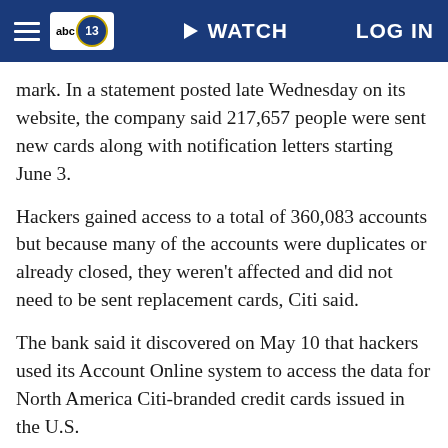abc13 WATCH LOG IN
mark. In a statement posted late Wednesday on its website, the company said 217,657 people were sent new cards along with notification letters starting June 3.
Hackers gained access to a total of 360,083 accounts but because many of the accounts were duplicates or already closed, they weren't affected and did not need to be sent replacement cards, Citi said.
The bank said it discovered on May 10 that hackers used its Account Online system to access the data for North America Citi-branded credit cards issued in the U.S.
The bank said last week that hackers accessed customer names, account numbers and contact information, including e-mail addresses.